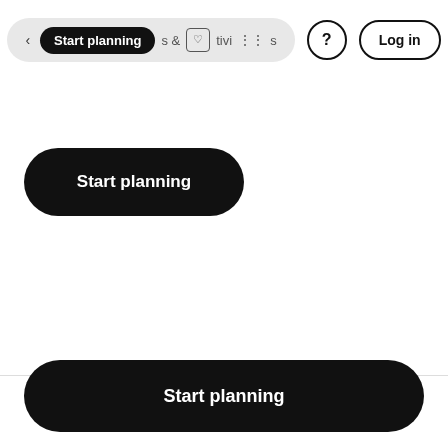[Figure (screenshot): Website navigation bar with a pill-shaped search bar showing 'Start planning' active button, icons, a question mark help button, and a 'Log in' button]
[Figure (screenshot): Black pill-shaped 'Start planning' button partially visible at top of page content area]
[Figure (screenshot): Black full-width pill-shaped 'Start planning' button at bottom of page]